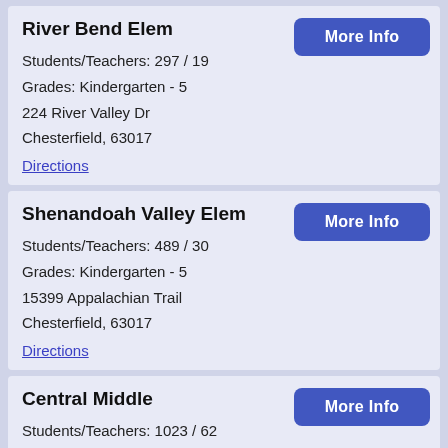River Bend Elem
Students/Teachers: 297 / 19
Grades: Kindergarten - 5
224 River Valley Dr
Chesterfield, 63017
Directions
Shenandoah Valley Elem
Students/Teachers: 489 / 30
Grades: Kindergarten - 5
15399 Appalachian Trail
Chesterfield, 63017
Directions
Central Middle
Students/Teachers: 1023 / 62
Grades: 6 - 8
471 N Woods Mill Rd